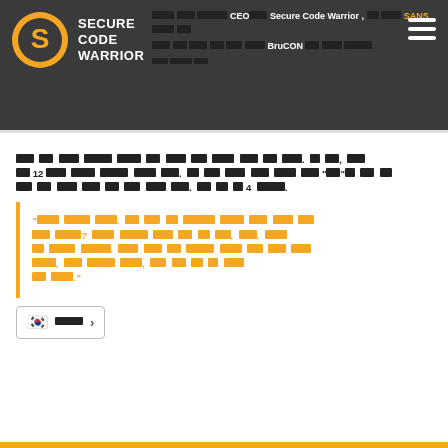Secure Code Warrior - header with navigation
[Redacted Korean text paragraph with references to 12, SANS, BruCON, and 4]
[Redacted Korean quote in orange italic text]
[Figure (other): Korean flag emoji with redacted text label and arrow button]
[Figure (other): Bottom orange bar]